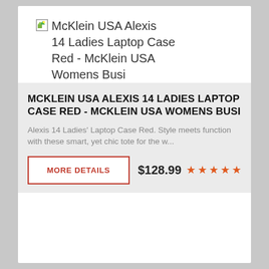[Figure (other): Broken image placeholder showing 'McKlein USA Alexis 14 Ladies Laptop Case Red - McKlein USA Womens Busi' text with broken image icon]
MCKLEIN USA ALEXIS 14 LADIES LAPTOP CASE RED - MCKLEIN USA WOMENS BUSI
Alexis 14 Ladies' Laptop Case Red. Style meets function with these smart, yet chic tote for the w...
MORE DETAILS
$128.99 ★★★★★